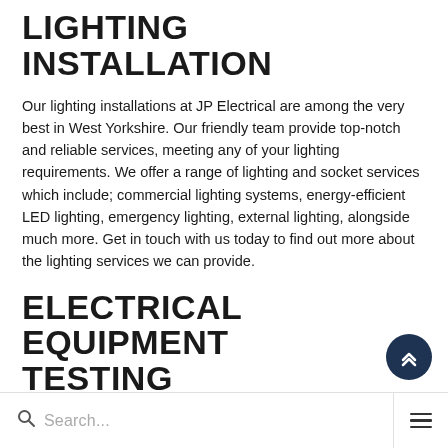LIGHTING INSTALLATION
Our lighting installations at JP Electrical are among the very best in West Yorkshire. Our friendly team provide top-notch and reliable services, meeting any of your lighting requirements. We offer a range of lighting and socket services which include; commercial lighting systems, energy-efficient LED lighting, emergency lighting, external lighting, alongside much more. Get in touch with us today to find out more about the lighting services we can provide.
ELECTRICAL EQUIPMENT TESTING
Our electrical equipment testing at JP Electrical provides
Search...